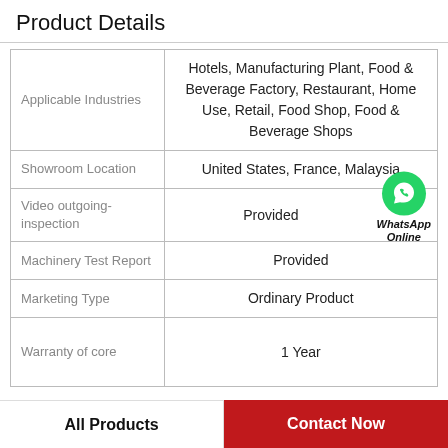Product Details
|  |  |
| --- | --- |
| Applicable Industries | Hotels, Manufacturing Plant, Food & Beverage Factory, Restaurant, Home Use, Retail, Food Shop, Food & Beverage Shops |
| Showroom Location | United States, France, Malaysia |
| Video outgoing-inspection | Provided |
| Machinery Test Report | Provided |
| Marketing Type | Ordinary Product |
| Warranty of core | 1 Year |
All Products
Contact Now